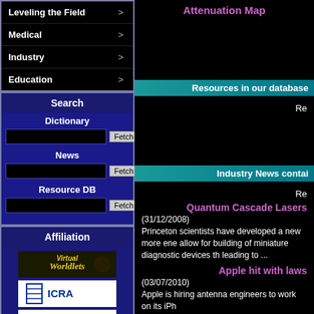Leveling the Field >
Medical >
Industry >
Education >
Search
Dictionary
News
Resource DB
Affiliation
[Figure (logo): Virtual Worldlets logo]
[Figure (logo): ICRA logo]
[Figure (logo): Lynx Inspected logo]
Attenuation Map
Resources in our database
Re
Industry News contai
Re
Quantum Cascade Lasers
(31/12/2008)
Princeton scientists have developed a new more ene allow for building of miniature diagnostic devices th leading to ...
Apple hit with laws
(03/07/2010)
Apple is hiring antenna engineers to work on its iPh